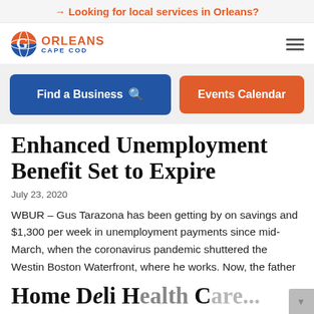→ Looking for local services in Orleans?
[Figure (logo): Orleans Cape Cod logo with circular globe icon, orange ORLEANS text and blue CAPE COD text]
Enhanced Unemployment Benefit Set to Expire
July 23, 2020
WBUR – Gus Tarazona has been getting by on savings and $1,300 per week in unemployment payments since mid-March, when the coronavirus pandemic shuttered the Westin Boston Waterfront, where he works. Now, the father of three is on the verge of losing much of his jobless benefit. Unless Congress acts, this is the last week for laid-off...